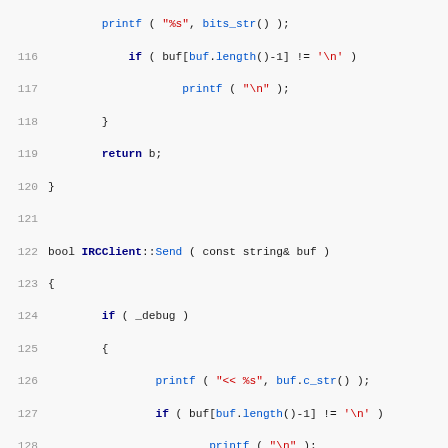[Figure (screenshot): Source code listing in C++ showing IRCClient class methods including Send, OnPing, Callback, and Run functions. Lines 115-147. Syntax highlighted with keywords in bold dark blue, strings in red, function calls in blue, line numbers in gray.]